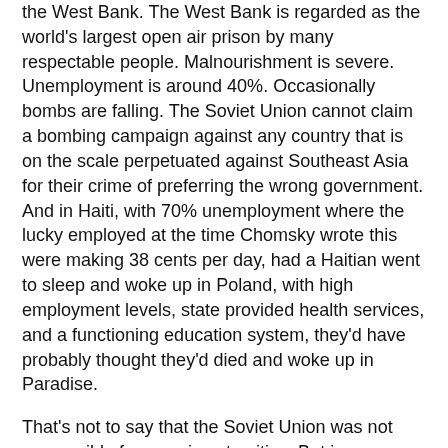the West Bank. The West Bank is regarded as the world's largest open air prison by many respectable people. Malnourishment is severe. Unemployment is around 40%. Occasionally bombs are falling. The Soviet Union cannot claim a bombing campaign against any country that is on the scale perpetuated against Southeast Asia for their crime of preferring the wrong government. And in Haiti, with 70% unemployment where the lucky employed at the time Chomsky wrote this were making 38 cents per day, had a Haitian went to sleep and woke up in Poland, with high employment levels, state provided health services, and a functioning education system, they'd have probably thought they'd died and woke up in Paradise.
That's not to say that the Soviet Union was not responsible for massive atrocities. But in some places where US tyranny and violence is imposed, things are actually worse. I'd say that assessment, rather than being a lie, would more accurately be described as the truth. But if you don't agree that's fine. Reasonable people might not reach the same judgments on matters like this. So in other words one could decide that Chomsky is wrong, but you couldn't say that he lied.